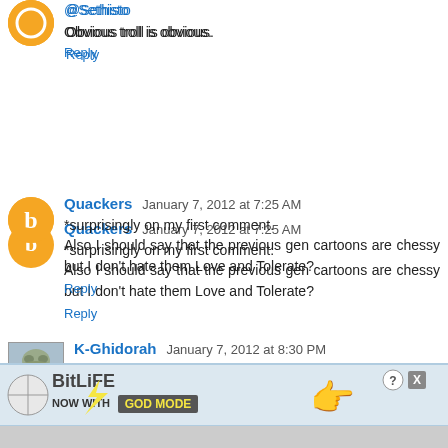@Sethisto
Obvious troll is obvious.
Reply
Quackers  January 7, 2012 at 7:25 AM
*surprisingly on my first comment.
Also I should say that the previous gen cartoons are chessy but I don't hate them Love and Tolerate?
Reply
K-Ghidorah  January 7, 2012 at 8:30 PM
Honestly, I'm hoping this goes beyond the two chapters, because there's a lot of potential here. As much hate and Discord that G3 receives, the clashing of the two worlds was quite entertaining.
No, the writing wasn't perfect, but it was a fun read!
[Figure (screenshot): BitLife advertisement banner - 'NOW WITH GOD MODE']